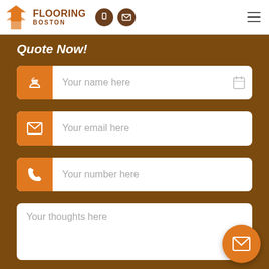[Figure (logo): Flooring Boston logo with orange zigzag arrow icon and brown text]
Quote Now!
Your name here
Your email here
Your number here
Your thoughts here